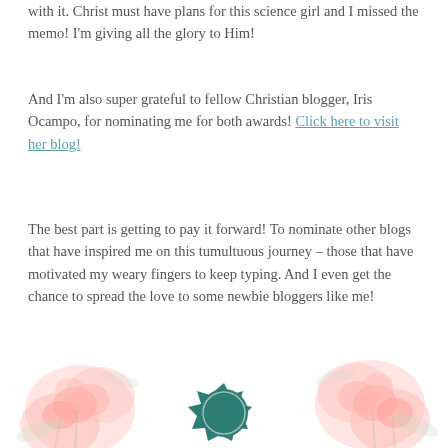with it. Christ must have plans for this science girl and I missed the memo! I'm giving all the glory to Him!
And I'm also super grateful to fellow Christian blogger, Iris Ocampo, for nominating me for both awards! Click here to visit her blog!
The best part is getting to pay it forward! To nominate other blogs that have inspired me on this tumultuous journey – those that have motivated my weary fingers to keep typing. And I even get the chance to spread the love to some newbie bloggers like me!
[Figure (illustration): Decorative image with pink roses and a teal circular badge/award emblem at the bottom of the page]